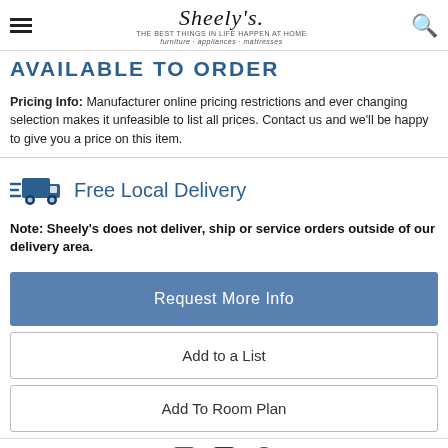Sheely's — The Best Things In Life Happen At Home — furniture · appliances · mattresses
AVAILABLE TO ORDER
Pricing Info: Manufacturer online pricing restrictions and ever changing selection makes it unfeasible to list all prices. Contact us and we'll be happy to give you a price on this item.
[Figure (illustration): Blue delivery truck icon with speed lines]
Free Local Delivery
Note: Sheely's does not deliver, ship or service orders outside of our delivery area.
Request More Info
Add to a List
Add To Room Plan